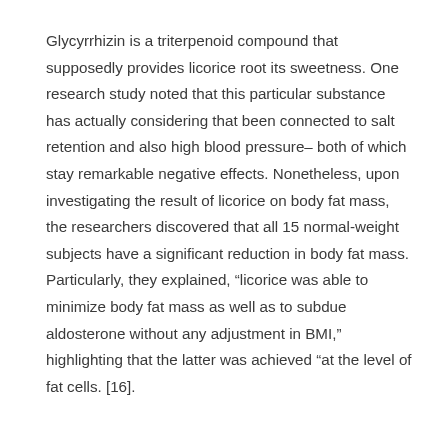Glycyrrhizin is a triterpenoid compound that supposedly provides licorice root its sweetness. One research study noted that this particular substance has actually considering that been connected to salt retention and also high blood pressure– both of which stay remarkable negative effects. Nonetheless, upon investigating the result of licorice on body fat mass, the researchers discovered that all 15 normal-weight subjects have a significant reduction in body fat mass. Particularly, they explained, “licorice was able to minimize body fat mass as well as to subdue aldosterone without any adjustment in BMI,” highlighting that the latter was achieved “at the level of fat cells. [16].